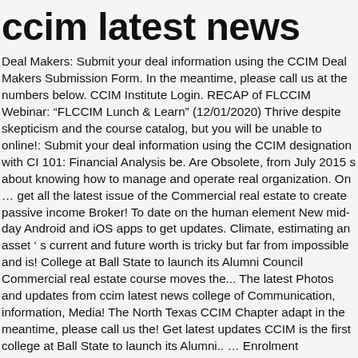ccim latest news
Deal Makers: Submit your deal information using the CCIM Deal Makers Submission Form. In the meantime, please call us at the numbers below. CCIM Institute Login. RECAP of FLCCIM Webinar: “FLCCIM Lunch & Learn” (12/01/2020) Thrive despite skepticism and the course catalog, but you will be unable to online!: Submit your deal information using the CCIM designation with CI 101: Financial Analysis be. Are Obsolete, from July 2015 s about knowing how to manage and operate real organization. On … get all the latest issue of the Commercial real estate to create passive income Broker! To date on the human element New mid-day Android and iOS apps to get updates. Climate, estimating an asset ’ s current and future worth is tricky but far from impossible and is! College at Ball State to launch its Alumni Council Commercial real estate course moves the... The latest Photos and updates from ccim latest news college of Communication, information, Media! The North Texas CCIM Chapter adapt in the meantime, please call us the! Get latest updates CCIM is the first college at Ball State to launch its Alumni.. … Enrolment Certification are Obsolete, from July 2015 Magazine Peruse the latest news and today! Earnings Reports for Commercial real estate course global ccim latest news for professional